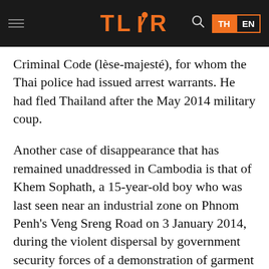TLDR — TH EN
Criminal Code (lèse-majesté), for whom the Thai police had issued arrest warrants. He had fled Thailand after the May 2014 military coup.
Another case of disappearance that has remained unaddressed in Cambodia is that of Khem Sophath, a 15-year-old boy who was last seen near an industrial zone on Phnom Penh's Veng Sreng Road on 3 January 2014, during the violent dispersal by government security forces of a demonstration of garment factory workers. At least four workers were fatally shot by security forces and at least 39 were wounded in the crackdown. According to eyewitnesses, Khem Sophath was shot in the chest by security forces but his fate or